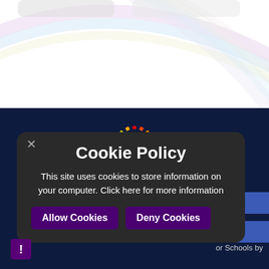[Figure (screenshot): School website screenshot showing rainbow logo for 'NSW Siblands School' with a cookie policy modal dialog overlay on a dark navy background. The top section is white with faint rainbow arcs. The cookie modal has a dark background with white text.]
Cookie Policy
This site uses cookies to store information on your computer. Click here for more information
Allow Cookies
Deny Cookies
or Schools by